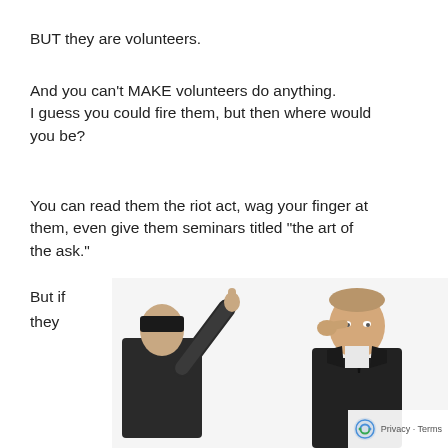BUT they are volunteers.
And you can’t MAKE volunteers do anything. I guess you could fire them, but then where would you be?
You can read them the riot act, wag your finger at them, even give them seminars titled “the art of the ask.”
But if
they
[Figure (photo): Two men in suits, one pointing a finger at the other who looks stressed, reCAPTCHA privacy badge in corner]